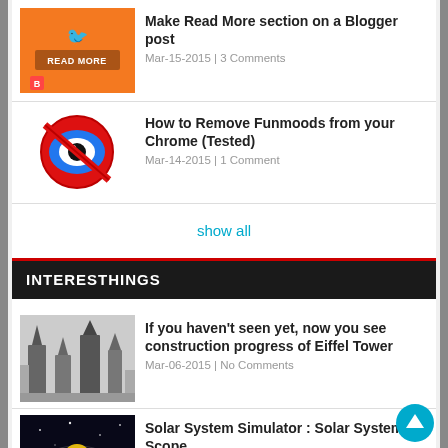[Figure (screenshot): Orange 'Read More' thumbnail with bird icon and Blogger icon]
Make Read More section on a Blogger post
Mar-15-2015 | 3 Comments
[Figure (screenshot): Funmoods removal - red circle with crossed-out blue eye icon]
How to Remove Funmoods from your Chrome (Tested)
Mar-14-2015 | 1 Comment
show all
INTERESTHINGS
[Figure (photo): Black and white photo of Eiffel Tower construction progress]
If you haven't seen yet, now you see construction progress of Eiffel Tower
Mar-06-2015 | No Comments
[Figure (screenshot): Dark screenshot of Solar System Simulator]
Solar System Simulator : Solar System Scope
Mar-05-2015 | No Comments
[Figure (photo): Road scene for seatbelt importance video]
Importance of Seatbelt Footage Video (NSFW)
Mar-04-2015 | No Comments
show all